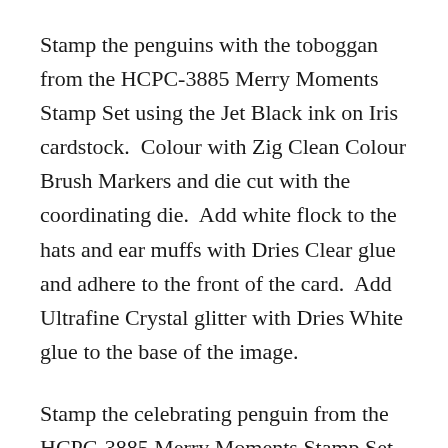Stamp the penguins with the toboggan from the HCPC-3885 Merry Moments Stamp Set using the Jet Black ink on Iris cardstock.  Colour with Zig Clean Colour Brush Markers and die cut with the coordinating die.  Add white flock to the hats and ear muffs with Dries Clear glue and adhere to the front of the card.  Add Ultrafine Crystal glitter with Dries White glue to the base of the image.
Stamp the celebrating penguin from the HCPC-3885 Merry Moments Stamp Set using Jet Black ink on Iris card.  Colour with Zig Clean Colour Brush Markers and die cut with the coordinating die.  Add white flock to the hat and Ultrafine Crystal glitter to the snow with Dries White glue and adhere to the front of the card.